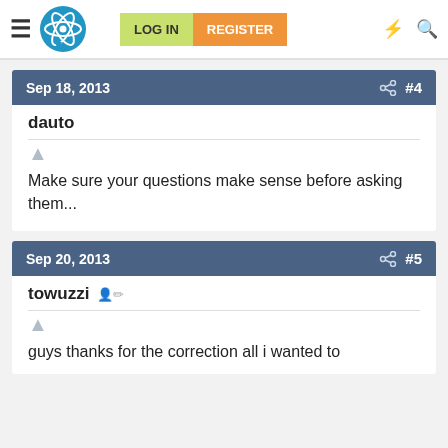LOG IN  REGISTER
Sep 18, 2013  #4
dauto
Make sure your questions make sense before asking them...
Sep 20, 2013  #5
towuzzi
guys thanks for the correction all i wanted to